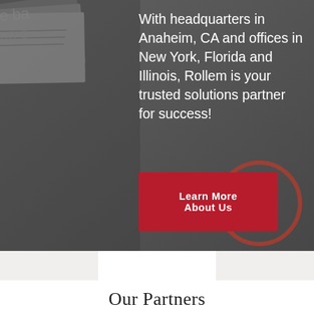[Figure (photo): Dark gray background photo showing documents/papers and what appears to be a logo or branded material in the lower right, serving as backdrop for text overlay]
With headquarters in Anaheim, CA and offices in New York, Florida and Illinois, Rollem is your trusted solutions partner for success!
Learn More About Us
Our Partners